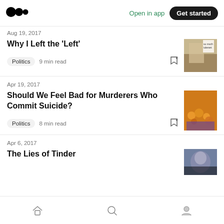Medium — Open in app | Get started
Aug 19, 2017
Why I Left the 'Left'
Politics  9 min read
Apr 19, 2017
Should We Feel Bad for Murderers Who Commit Suicide?
Politics  8 min read
Apr 6, 2017
The Lies of Tinder